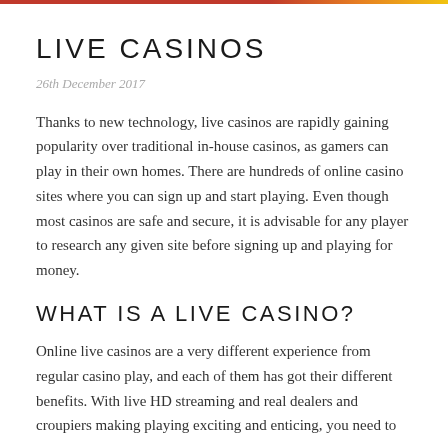LIVE CASINOS
26th December 2017
Thanks to new technology, live casinos are rapidly gaining popularity over traditional in-house casinos, as gamers can play in their own homes. There are hundreds of online casino sites where you can sign up and start playing. Even though most casinos are safe and secure, it is advisable for any player to research any given site before signing up and playing for money.
WHAT IS A LIVE CASINO?
Online live casinos are a very different experience from regular casino play, and each of them has got their different benefits. With live HD streaming and real dealers and croupiers making playing exciting and enticing, you need to